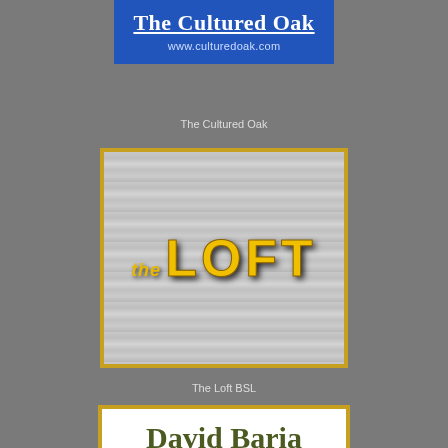[Figure (logo): The Cultured Oak advertisement — blue background with white serif underlined title 'The Cultured Oak' and URL www.culturedoak.com]
The Cultured Oak
[Figure (logo): The Loft BSL advertisement — gray wood-texture background with gold marquee-style text 'THE LOFT', framed with gold border]
The Loft BSL
[Figure (logo): David Baria Attorney at Law advertisement — white background with gold border, green serif name 'David Baria', bold 'ATTORNEY AT LAW', address '544 Main Street · Bay St. Louis, MS']